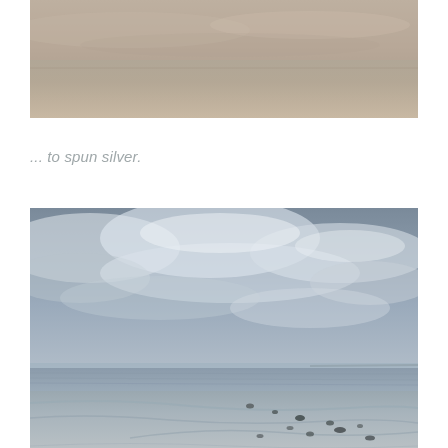[Figure (photo): Top portion of a beach or coastal scene showing a hazy, muted sky with sandy tones — warm beige and grey tones, cropped at the top of the page]
... to spun silver.
[Figure (photo): A coastal beach scene with an overcast, dramatic cloudy sky in shades of grey and white, a calm sea visible at the horizon, and a wet sandy beach in the foreground with small dark stones or seaweed marks on the sand]